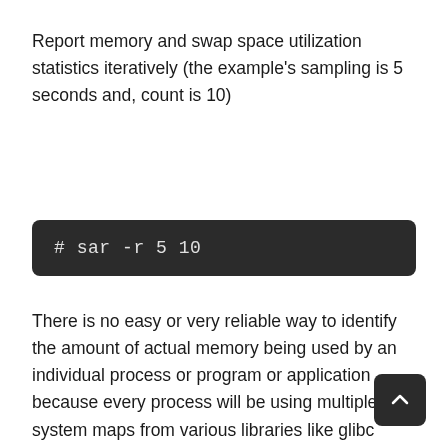Report memory and swap space utilization statistics iteratively (the example's sampling is 5 seconds and, count is 10)
# sar -r 5 10
There is no easy or very reliable way to identify the amount of actual memory being used by an individual process or program or application because every process will be using multiple system maps from various libraries like glibc which will also be used by many other processes so the reported memory will include the mem utilised by these other buffer segments. Although we can get close enough to the actual memory utilisation by using the below methods. But still there are few methods which can be used to